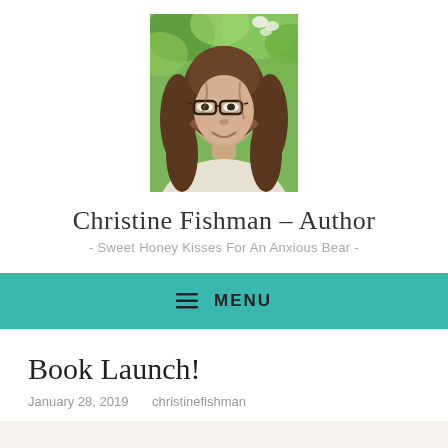[Figure (photo): Portrait photo of Christine Fishman, a woman with long brown hair and glasses, smiling outdoors with green foliage in the background.]
Christine Fishman – Author
- Sweet Honey Kisses For An Anxious Bear -
≡ MENU
Book Launch!
January 28, 2019    christinefishman